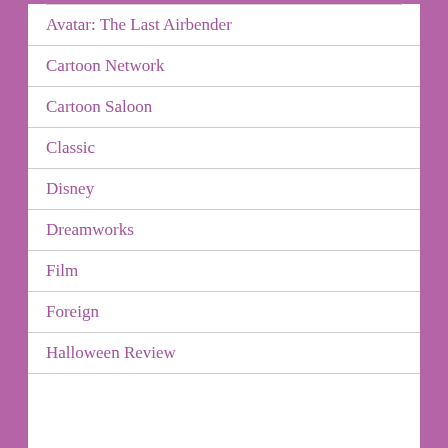Avatar: The Last Airbender
Cartoon Network
Cartoon Saloon
Classic
Disney
Dreamworks
Film
Foreign
Halloween Review